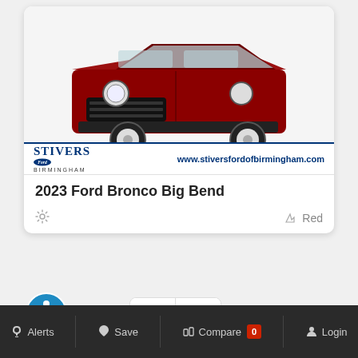[Figure (photo): Red 2023 Ford Bronco Big Bend SUV shown from front 3/4 angle with Stivers Ford Birmingham dealership logo and website www.stiversfordofbirmingham.com at the bottom of the image]
2023 Ford Bronco Big Bend
Red
[Figure (other): Navigation UI: blue accessibility icon on left, pagination arrows (< and >) on right]
Alerts  Save  Compare 0  Login